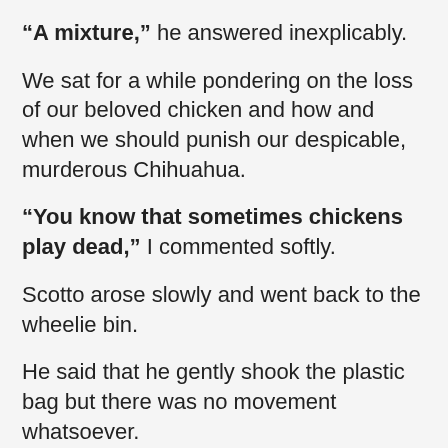“A mixture,” he answered inexplicably.
We sat for a while pondering on the loss of our beloved chicken and how and when we should punish our despicable, murderous Chihuahua.
“You know that sometimes chickens play dead,” I commented softly.
Scotto arose slowly and went back to the wheelie bin.
He said that he gently shook the plastic bag but there was no movement whatsoever.
Then he went back a half hour later and the result was the same.
I don’t think Khaleesi was playing dead.